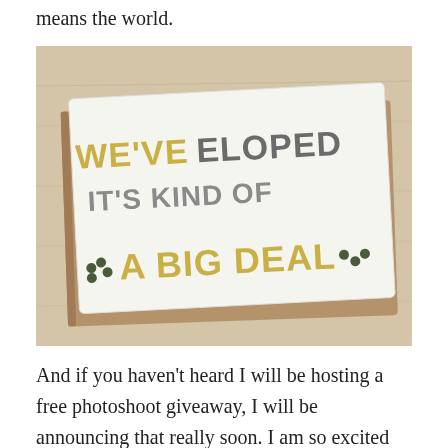means the world.
[Figure (photo): A greeting card reading 'WE'VE ELOPED IT'S KIND OF A BIG DEAL...' with yellow and gray hand-lettered text, resting on a brown kraft envelope on a light wood surface.]
And if you haven't heard I will be hosting a free photoshoot giveaway, I will be announcing that really soon. I am so excited for whoever gets to